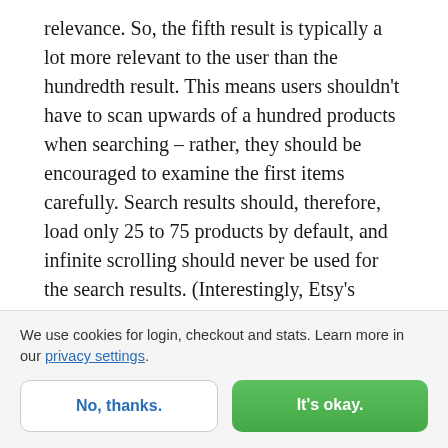relevance. So, the fifth result is typically a lot more relevant to the user than the hundredth result. This means users shouldn't have to scan upwards of a hundred products when searching – rather, they should be encouraged to examine the first items carefully. Search results should, therefore, load only 25 to 75 products by default, and infinite scrolling should never be used for the search results. (Interestingly, Etsy's famous A/B split test of infinite scrolling also documented a significant hit to the search experience.)
We use cookies for login, checkout and stats. Learn more in our privacy settings.